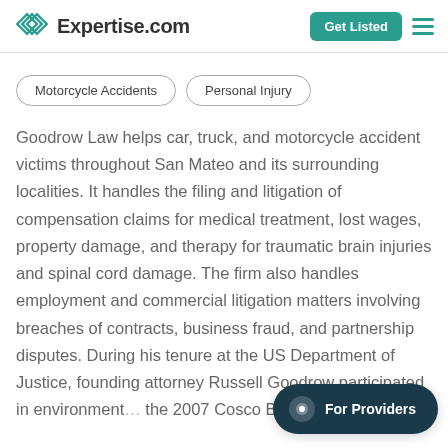Expertise.com | Get Listed
Motorcycle Accidents
Personal Injury
Goodrow Law helps car, truck, and motorcycle accident victims throughout San Mateo and its surrounding localities. It handles the filing and litigation of compensation claims for medical treatment, lost wages, property damage, and therapy for traumatic brain injuries and spinal cord damage. The firm also handles employment and commercial litigation matters involving breaches of contracts, business fraud, and partnership disputes. During his tenure at the US Department of Justice, founding attorney Russell Goodrow participated in environmental litigation, including the 2007 Cosco Busan oil spill.